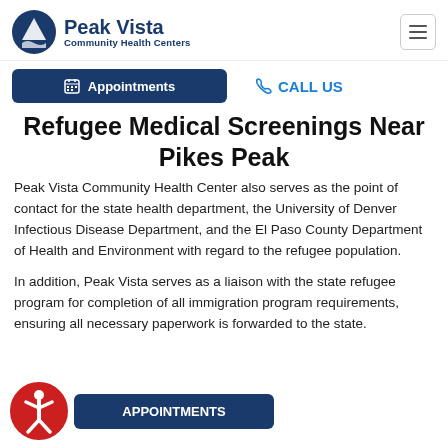[Figure (logo): Peak Vista Community Health Centers logo with mountain icon]
Refugee Medical Screenings Near Pikes Peak
Peak Vista Community Health Center also serves as the point of contact for the state health department, the University of Denver Infectious Disease Department, and the El Paso County Department of Health and Environment with regard to the refugee population.
In addition, Peak Vista serves as a liaison with the state refugee program for completion of all immigration program requirements, ensuring all necessary paperwork is forwarded to the state.